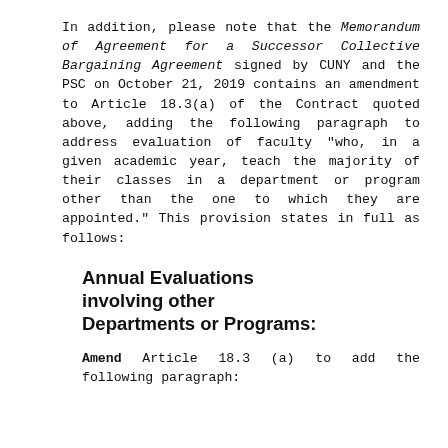In addition, please note that the Memorandum of Agreement for a Successor Collective Bargaining Agreement signed by CUNY and the PSC on October 21, 2019 contains an amendment to Article 18.3(a) of the Contract quoted above, adding the following paragraph to address evaluation of faculty "who, in a given academic year, teach the majority of their classes in a department or program other than the one to which they are appointed." This provision states in full as follows:
Annual Evaluations involving other Departments or Programs:
Amend Article 18.3 (a) to add the following paragraph: